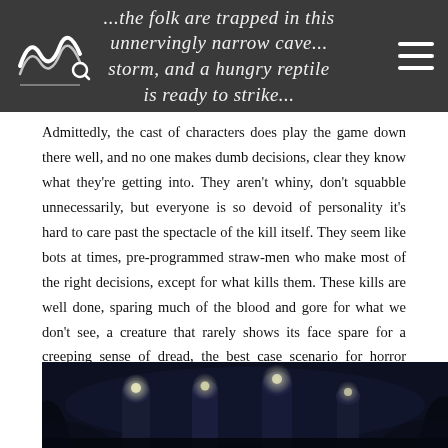...the folk are trapped in this unnervingly narrow cave... storm, and a hungry reptile is ready to strike...
Admittedly, the cast of characters does play the game down there well, and no one makes dumb decisions, clear they know what they're getting into. They aren't whiny, don't squabble unnecessarily, but everyone is so devoid of personality it's hard to care past the spectacle of the kill itself. They seem like bots at times, pre-programmed straw-men who make most of the right decisions, except for what kills them. These kills are well done, sparing much of the blood and gore for what we don't see, a creature that rarely shows its face spare for a creeping sense of dread, the best case scenario for horror beyond the big-budget name brand flicks.
[Figure (photo): Dark cave scene with several people wearing headlamps/mining helmets, dimly lit underground setting]